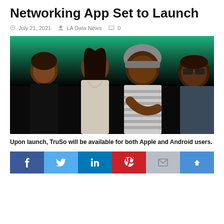Networking App Set to Launch
July 21, 2021   LA Data News   0
[Figure (photo): Four people posing together against a dark background with a green gradient at the top. A young man on the far left, a woman in the center-left, a man in a grey beanie and striped shirt in center-right, and an older man with sunglasses on the far right.]
Upon launch, TruSo will be available for both Apple and Android users.
[Figure (other): Social media share buttons bar: Facebook (blue), Twitter (light blue), LinkedIn (dark blue), Pinterest (red), Email (grey), Scroll to top (blue)]